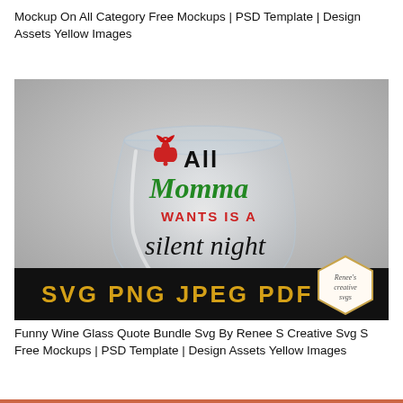Mockup On All Category Free Mockups | PSD Template | Design Assets Yellow Images
[Figure (photo): A stemless wine glass with holiday-themed text: a red bell icon, 'All' in black bold, 'Momma' in green script, 'WANTS IS A' in red bold caps, 'silent night' in black script. Bottom black banner with gold text 'SVG PNG JPEG PDF'. Renee's Creative SVGs logo in lower right corner.]
Funny Wine Glass Quote Bundle Svg By Renee S Creative Svg S Free Mockups | PSD Template | Design Assets Yellow Images